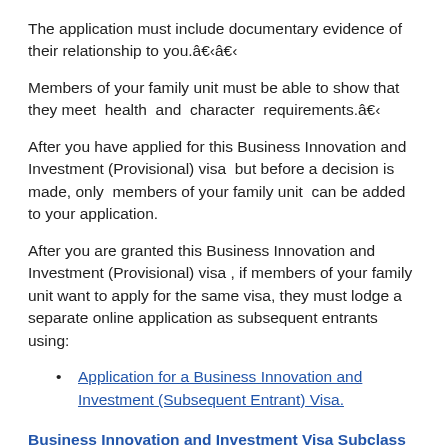The application must include documentary evidence of their relationship to you.â€‹â€‹
Members of your family unit must be able to show that they meet health and character requirements.â€‹
After you have applied for this Business Innovation and Investment (Provisional) visa but before a decision is made, only members of your family unit can be added to your application.
After you are granted this Business Innovation and Investment (Provisional) visa , if members of your family unit want to apply for the same visa, they must lodge a separate online application as subsequent entrants using:
Application for a Business Innovation and Investment (Subsequent Entrant) Visa.
Business Innovation and Investment Visa Subclass 188: